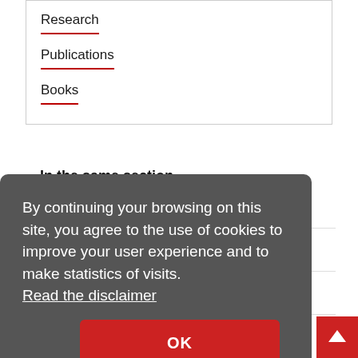Research
Publications
Books
In the same section
By continuing your browsing on this site, you agree to the use of cookies to improve your user experience and to make statistics of visits.
Read the disclaimer
OK
CHERGUI Majed, Hon Prof.
COMNINELLIS Christos, Hon. Prof.